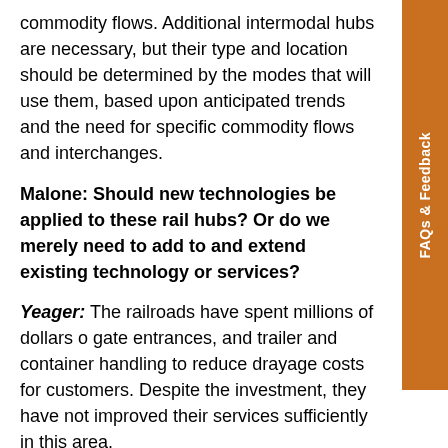commodity flows. Additional intermodal hubs are necessary, but their type and location should be determined by the modes that will use them, based upon anticipated trends and the need for specific commodity flows and interchanges.
Malone: Should new technologies be applied to these rail hubs? Or do we merely need to add to and extend existing technology or services?
Yeager: The railroads have spent millions of dollars on gate entrances, and trailer and container handling to reduce drayage costs for customers. Despite the investment, they have not improved their services sufficiently in this area.
The most effective service and cost reduction feature are stack trains, which came into use in the early 1980s. They have been enabling railroads to dominate